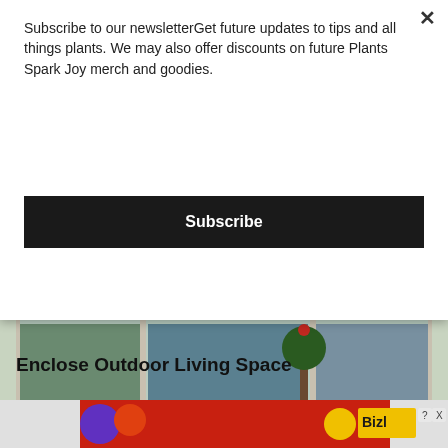Subscribe to our newsletterGet future updates to tips and all things plants. We may also offer discounts on future Plants Spark Joy merch and goodies.
Subscribe
[Figure (photo): Sunroom/enclosed patio with wicker furniture, cushioned chairs, glass windows with garden view, and red decorative napkins on table. Patio Enclosures advertisement banner at bottom reading 'Enjoy your PATIO more']
Enclose Outdoor Living Space
[Figure (screenshot): Bottom advertisement strip with red background, colorful characters, and Bizl logo with question mark and X icons]